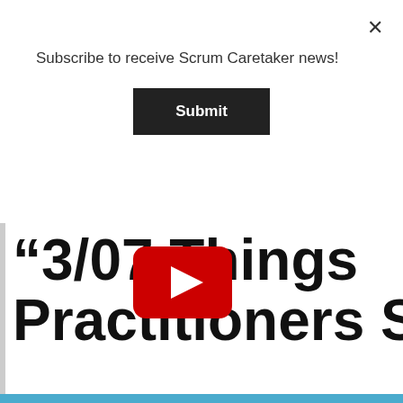Subscribe to receive Scrum Caretaker news!
Submit
[Figure (screenshot): YouTube video thumbnail showing partial title text '"3/07 Things Practitioners Sho...' with a YouTube play button overlay in the center]
Have a wonderful summer. Check out some summer reading inspiration! Dismiss
Gunther Ver
independent